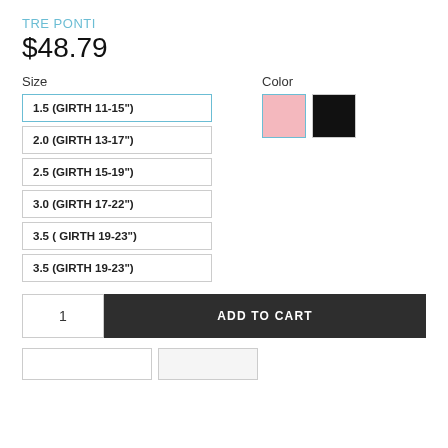TRE PONTI
$48.79
Size
1.5 (GIRTH 11-15")
2.0 (GIRTH 13-17")
2.5 (GIRTH 15-19")
3.0 (GIRTH 17-22")
3.5 ( GIRTH 19-23")
3.5 (GIRTH 19-23")
Color
[Figure (other): Two color swatches: pink (selected, with teal border) and black]
1
ADD TO CART